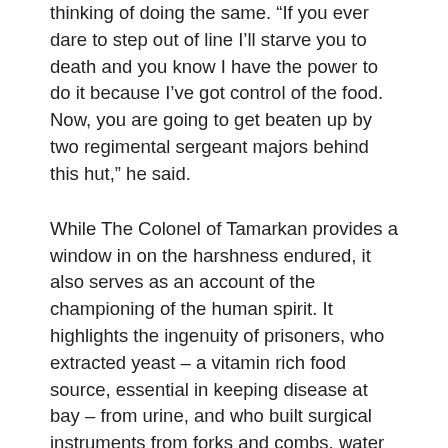thinking of doing the same. “If you ever dare to step out of line I’ll starve you to death and you know I have the power to do it because I’ve got control of the food. Now, you are going to get beaten up by two regimental sergeant majors behind this hut,” he said.
While The Colonel of Tamarkan provides a window in on the harshness endured, it also serves as an account of the championing of the human spirit. It highlights the ingenuity of prisoners, who extracted yeast – a vitamin rich food source, essential in keeping disease at bay – from urine, and who built surgical instruments from forks and combs, water pumps from bamboo, and secret radios from razor blades and wire.
Anecdotes shed light on “V”, a network of Thais and Chinese, and foreign civilian prisoners, who risked torture and death on a daily basis to supply information,